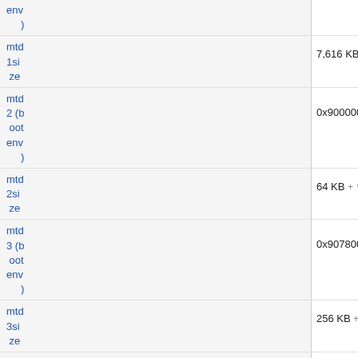| Label | Value |
| --- | --- |
| env ) |  |
| mtd 1size | 7,616 KB + 🔍 |
| mtd 2 (boot env ) | 0x90000000, 0x90010000 + 🔍 |
| mtd 2size | 64 KB + 🔍 |
| mtd 3 (boot env ) | 0x90780000, 0x907C0000 + 🔍 |
| mtd 3size | 256 KB + 🔍 |
| mtd |  |